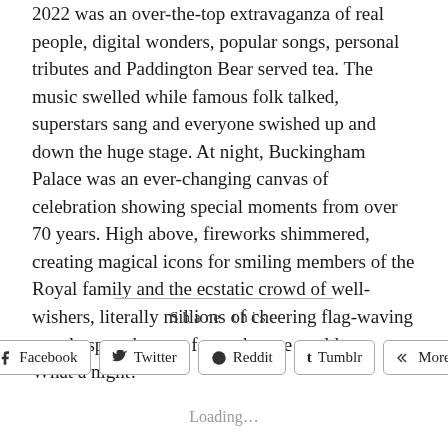2022 was an over-the-top extravaganza of real people, digital wonders, popular songs, personal tributes and Paddington Bear served tea. The music swelled while famous folk talked, superstars sang and everyone swished up and down the huge stage. At night, Buckingham Palace was an ever-changing canvas of celebration showing special moments from over 70 years. High above, fireworks shimmered, creating magical icons for smiling members of the Royal family and the ecstatic crowd of well-wishers, literally millions of cheering flag-waving people spread out as far as the eye could see. What a night!
Share this:
Facebook  Twitter  Reddit  Tumblr  More
Loading...